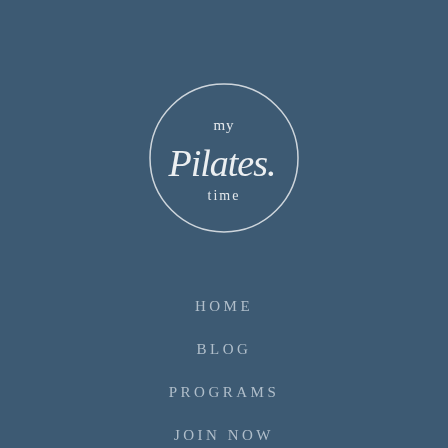[Figure (logo): My Pilates Time circular logo with handwritten script text 'my Pilates time' inside a thin white circle on a steel blue background]
HOME
BLOG
PROGRAMS
JOIN NOW
CONTACT
MEMBER LOG IN